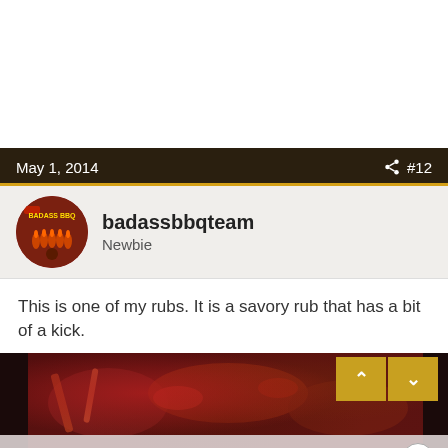May 1, 2014  #12
badassbbqteam
Newbie
This is one of my rubs.  It is a savory rub that has a bit of a kick.
[Figure (photo): Close-up photo of a spice rub mixture with red peppers and spices on a surface, with navigation up/down arrow buttons overlaid in gold/yellow.]